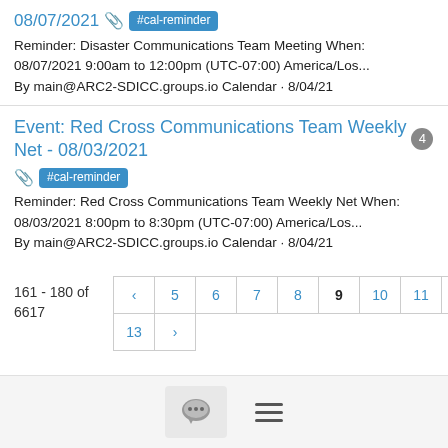08/07/2021 #cal-reminder
Reminder: Disaster Communications Team Meeting When: 08/07/2021 9:00am to 12:00pm (UTC-07:00) America/Los... By main@ARC2-SDICC.groups.io Calendar · 8/04/21
Event: Red Cross Communications Team Weekly Net - 08/03/2021 4 #cal-reminder
Reminder: Red Cross Communications Team Weekly Net When: 08/03/2021 8:00pm to 8:30pm (UTC-07:00) America/Los... By main@ARC2-SDICC.groups.io Calendar · 8/04/21
161 - 180 of 6617
[Figure (screenshot): Pagination controls showing pages 5-13 with previous arrow, current page 9 in bold, and next arrow]
[Figure (screenshot): Footer bar with chat bubble icon button and hamburger menu icon]